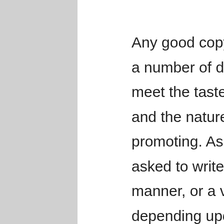Any good copywriter will be able to use a number of different styles in order to meet the tastes of different audiences and the nature of what they're promoting. As an example; they may be asked to write in a fairly informal manner, or a very technical manner, depending upon whether their audience is general consumers or industry insiders. Likewise, if they're promoting a brand in a newspaper they may use an informal style, while on a product's description, it pays to be clear, concise and